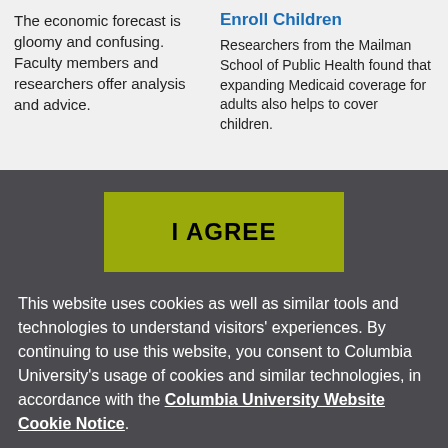The economic forecast is gloomy and confusing. Faculty members and researchers offer analysis and advice.
Enroll Children
Researchers from the Mailman School of Public Health found that expanding Medicaid coverage for adults also helps to cover children.
I AGREE
This website uses cookies as well as similar tools and technologies to understand visitors' experiences. By continuing to use this website, you consent to Columbia University's usage of cookies and similar technologies, in accordance with the Columbia University Website Cookie Notice.